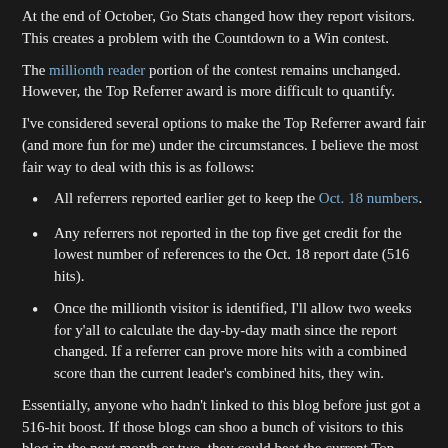At the end of October, Go Stats changed how they report visitors. This creates a problem with the Countdown to a Win contest.
The millionth reader portion of the contest remains unchanged. However, the Top Referrer award is more difficult to quantify.
I've considered several options to make the Top Referrer award fair (and more fun for me) under the circumstances. I believe the most fair way to deal with this is as follows:
All referrers reported earlier get to keep the Oct. 18 numbers.
Any referrers not reported in the top five get credit for the lowest number of references to the Oct. 18 report date (516 hits).
Once the millionth visitor is identified, I'll allow two weeks for y'all to calculate the day-by-day math since the report changed. If a referrer can prove more hits with a combined score than the current leader's combined hits, they win.
Essentially, anyone who hadn't linked to this blog before just got a 516-hit boost. If those blogs can shoo a bunch of visitors to this blog in the next month or two, they could beat the current Top Referrers and win a